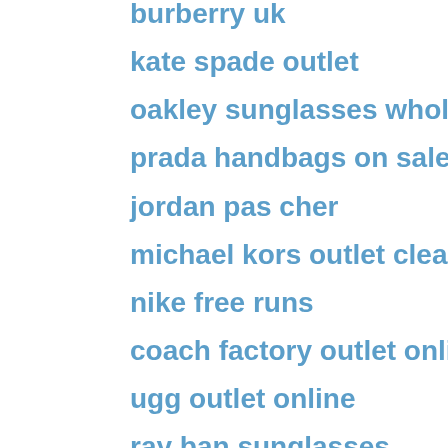burberry uk
kate spade outlet
oakley sunglasses wholesale
prada handbags on sale
jordan pas cher
michael kors outlet clearance
nike free runs
coach factory outlet online
ugg outlet online
ray ban sunglasses
air max 90
michael kors handbags
michael kors outlet
kate spade outlet
levis 511
ray bans
salvatore ferragamo
polo ralph lauren outlet
michael kors bags
kate spade outlet
ray ban outlet
oakley store
under armour shoes